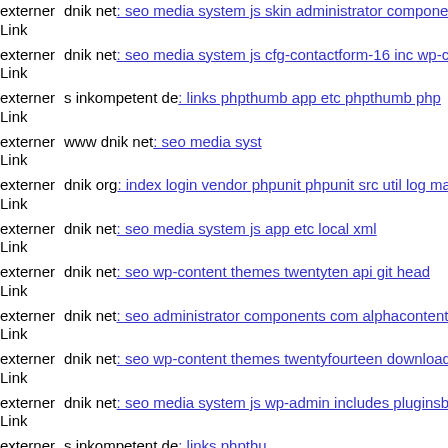externer Link dnik net: seo media system js skin administrator component
externer Link dnik net: seo media system js cfg-contactform-16 inc wp-co
externer Link s inkompetent de: links phpthumb app etc phpthumb php
externer Link www dnik net: seo media syst
externer Link dnik org: index login vendor phpunit phpunit src util log ma
externer Link dnik net: seo media system js app etc local xml
externer Link dnik net: seo wp-content themes twentyten api git head
externer Link dnik net: seo administrator components com alphacontent a
externer Link dnik net: seo wp-content themes twentyfourteen downloade
externer Link dnik net: seo media system js wp-admin includes pluginsbu
externer Link s inkompetent de: links phpthu